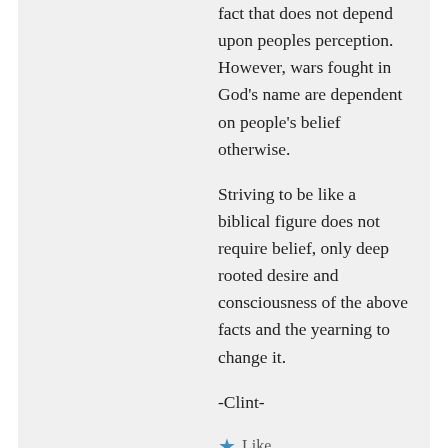fact that does not depend upon peoples perception. However, wars fought in God's name are dependent on people's belief otherwise.
Striving to be like a biblical figure does not require belief, only deep rooted desire and consciousness of the above facts and the yearning to change it.
-Clint-
★ Like
↳ Reply
Reigne on December 26, 2012 at 10:40 am
Here is the process of Electoral Voting and what